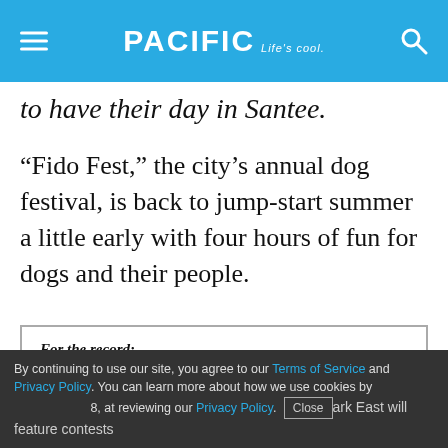PACIFIC Life's cool.
to have their day in Santee.
“Fido Fest,” the city’s annual dog festival, is back to jump-start summer a little early with four hours of fun for dogs and their people.
For the record:
9:57 p.m. June 5, 2019 This story has been corrected to note that the event is from 8 a.m. until 1 p.m.
By continuing to use our site, you agree to our Terms of Service and Privacy Policy. You can learn more about how we use cookies by reviewing our Privacy Policy. Close
8, at Town Center Community Park East will feature contests